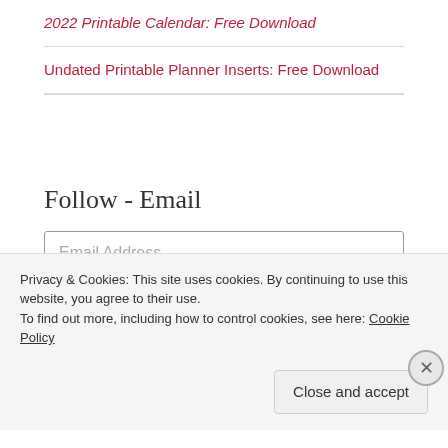2022 Printable Calendar: Free Download
Undated Printable Planner Inserts: Free Download
Follow - Email
Email Address
Follow
Privacy & Cookies: This site uses cookies. By continuing to use this website, you agree to their use. To find out more, including how to control cookies, see here: Cookie Policy
Close and accept